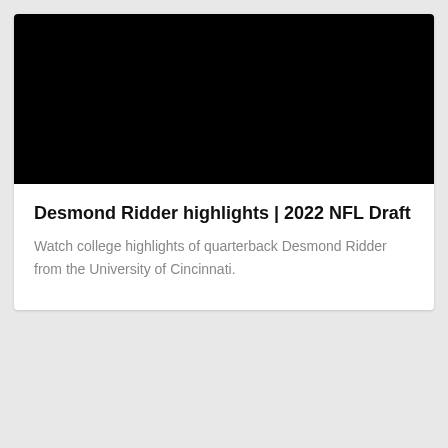[Figure (screenshot): Black video thumbnail placeholder for a YouTube-style video card]
Desmond Ridder highlights | 2022 NFL Draft
Watch college highlights of quarterback Desmond Ridder from the University of Cincinnati.